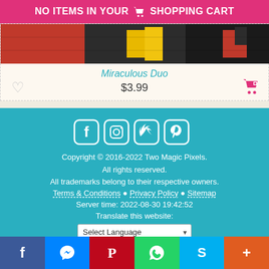NO ITEMS IN YOUR 🛒 SHOPPING CART
[Figure (photo): Pixel art / cross-stitch product image showing red, black, and yellow pixel pattern - Miraculous Duo design]
Miraculous Duo
$3.99
[Figure (infographic): Social media icons: Facebook, Instagram, Twitter, Pinterest in white on teal background]
Copyright © 2016-2022 Two Magic Pixels. All rights reserved.
All trademarks belong to their respective owners.
Terms & Conditions • Privacy Policy • Sitemap
Server time: 2022-08-30 19:42:52
Translate this website:
Select Language
f  Messenger  Pinterest  WhatsApp  Skype  +